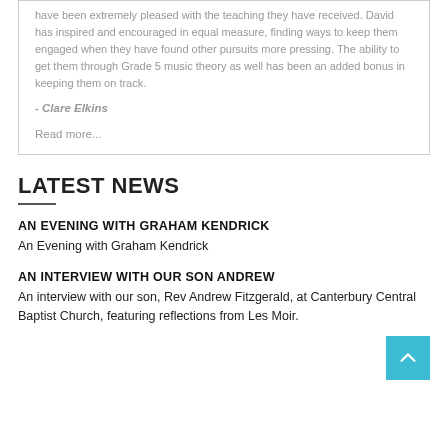have been extremely pleased with the teaching they have received. David has inspired and encouraged in equal measure, finding ways to keep them engaged when they have found other pursuits more pressing. The ability to get them through Grade 5 music theory as well has been an added bonus in keeping them on track.
- Clare Elkins
Read more...
LATEST NEWS
AN EVENING WITH GRAHAM KENDRICK
An Evening with Graham Kendrick
AN INTERVIEW WITH OUR SON ANDREW
An interview with our son, Rev Andrew Fitzgerald, at Canterbury Central Baptist Church, featuring reflections from Les Moir.